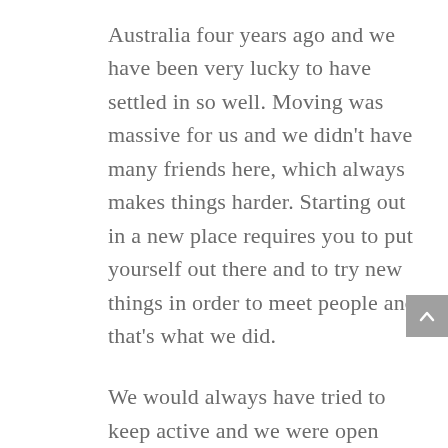Australia four years ago and we have been very lucky to have settled in so well. Moving was massive for us and we didn't have many friends here, which always makes things harder. Starting out in a new place requires you to put yourself out there and to try new things in order to meet people and that's what we did.
We would always have tried to keep active and we were open minded about trying new things. We have both tried different gyms, boot camps and classes in order to try and keep fit, but nothing has hooked us